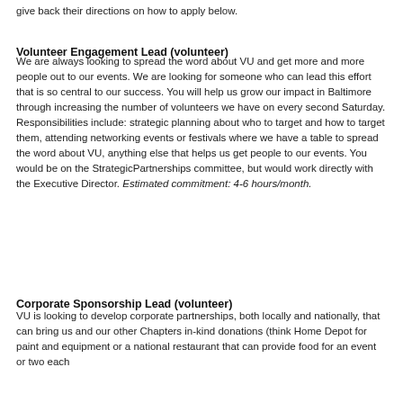give back their directions on how to apply below.
Volunteer Engagement Lead (volunteer)
We are always looking to spread the word about VU and get more and more people out to our events. We are looking for someone who can lead this effort that is so central to our success. You will help us grow our impact in Baltimore through increasing the number of volunteers we have on every second Saturday. Responsibilities include: strategic planning about who to target and how to target them, attending networking events or festivals where we have a table to spread the word about VU, anything else that helps us get people to our events. You would be on the StrategicPartnerships committee, but would work directly with the Executive Director. Estimated commitment: 4-6 hours/month.
Corporate Sponsorship Lead (volunteer)
VU is looking to develop corporate partnerships, both locally and nationally, that can bring us and our other Chapters in-kind donations (think Home Depot for paint and equipment or a national restaurant that can provide food for an event or two each